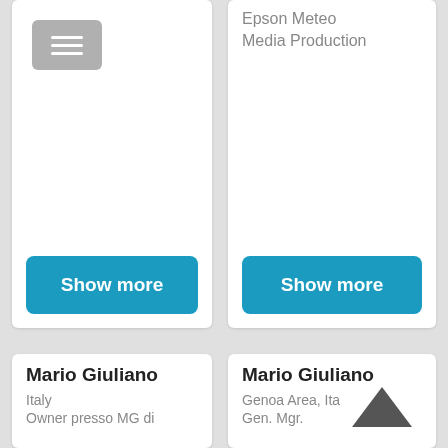[Figure (screenshot): Menu/hamburger button icon in grey rounded rectangle, top-left of left card]
Epson Meteo
Media Production
Show more
Show more
Mario Giuliano
Italy
Owner presso MG di
Mario Giuliano
Genoa Area, Ita
Gen. Mgr.